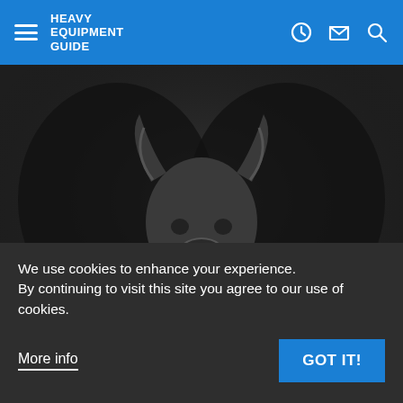HEAVY EQUIPMENT GUIDE
[Figure (illustration): Heavy equipment advertisement showing a bull/ox logo with text 'RIP. DOZE. LOAD.' and 'A FLEET OF ONE' with CASE branding on a dark smoky background]
We use cookies to enhance your experience. By continuing to visit this site you agree to our use of cookies.
More info
GOT IT!